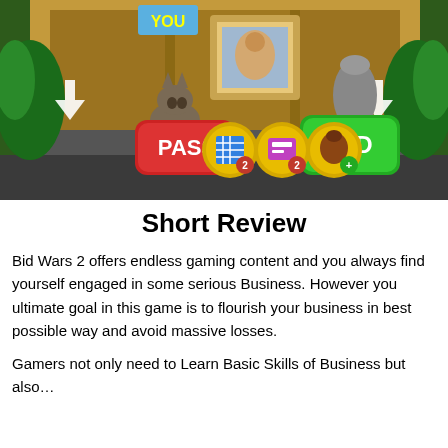[Figure (screenshot): Screenshot of Bid Wars 2 mobile game showing a bidding scene with PASS button on left in red and BID button on right in green, items displayed in center including a cat, a framed painting, and bid tokens. Background shows a shop interior. 'YOU' flag visible top left.]
Short Review
Bid Wars 2 offers endless gaming content and you always find yourself engaged in some serious Business. However you ultimate goal in this game is to flourish your business in best possible way and avoid massive losses.
Gamers not only need to Learn Basic Skills of Business but also...